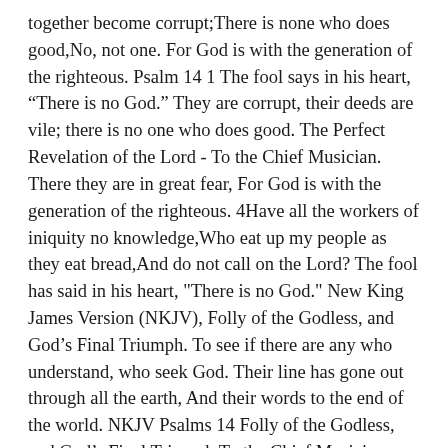together become corrupt;There is none who does good,No, not one. For God is with the generation of the righteous. Psalm 14 1 The fool says in his heart, “There is no God.” They are corrupt, their deeds are vile; there is no one who does good. The Perfect Revelation of the Lord - To the Chief Musician. There they are in great fear, For God is with the generation of the righteous. 4Have all the workers of iniquity no knowledge,Who eat up my people as they eat bread,And do not call on the Lord? The fool has said in his heart, "There is no God." New King James Version (NKJV), Folly of the Godless, and God’s Final Triumph. To see if there are any who understand, who seek God. Their line has gone out through all the earth, And their words to the end of the world. NKJV Psalms 14 Folly of the Godless, and God’s Final Triumph To the Chief Musician. They have all turned aside, They have together become corrupt; There is none who does good, No, not one. 1The fool has said in his heart,“There is no God.”They are corrupt,They have done abominable works,There is none who does good. Salem Media Group